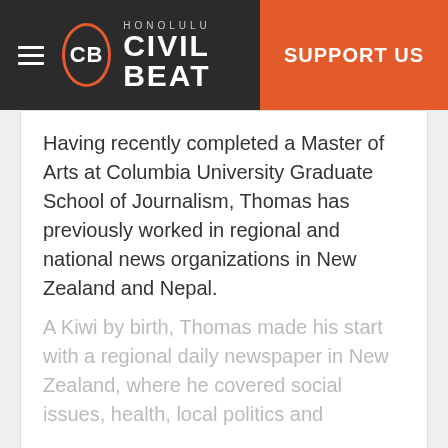Honolulu Civil Beat — SUPPORT US
Having recently completed a Master of Arts at Columbia University Graduate School of Journalism, Thomas has previously worked in regional and national news organizations in New Zealand and Nepal.
A Kiwi by birth, Thomas made his start with a regional daily newspaper in New Zealand, where he covered social issues, health, local politics and
READ MORE ˅
Latest Articles
Full Archive